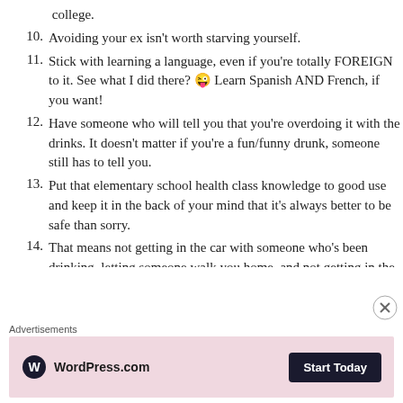college.
10. Avoiding your ex isn't worth starving yourself.
11. Stick with learning a language, even if you're totally FOREIGN to it. See what I did there? 😜 Learn Spanish AND French, if you want!
12. Have someone who will tell you that you're overdoing it with the drinks. It doesn't matter if you're a fun/funny drunk, someone still has to tell you.
13. Put that elementary school health class knowledge to good use and keep it in the back of your mind that it's always better to be safe than sorry.
14. That means not getting in the car with someone who's been drinking, letting someone walk you home, and not getting in the car with someone you met online for the first date.
Advertisements
[Figure (screenshot): WordPress.com advertisement banner with logo and 'Start Today' button on pink background]